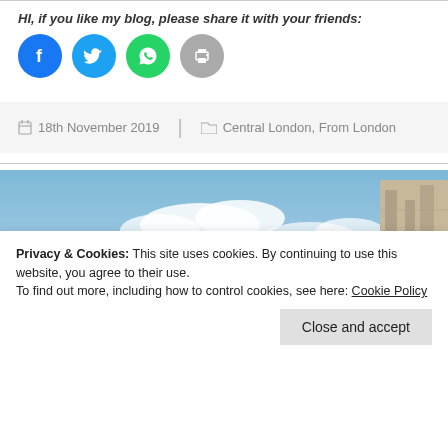HI, if you like my blog, please share it with your friends:
[Figure (infographic): Four social sharing icons: Facebook (blue circle), Twitter (cyan circle), WhatsApp (green circle), Print (gray circle)]
18th November 2019  Central London, From London
[Figure (photo): Outdoor scene with blue sky, clouds, ancient temple or monument structure visible at right, stone building elements in foreground]
Privacy & Cookies: This site uses cookies. By continuing to use this website, you agree to their use.
To find out more, including how to control cookies, see here: Cookie Policy
Close and accept